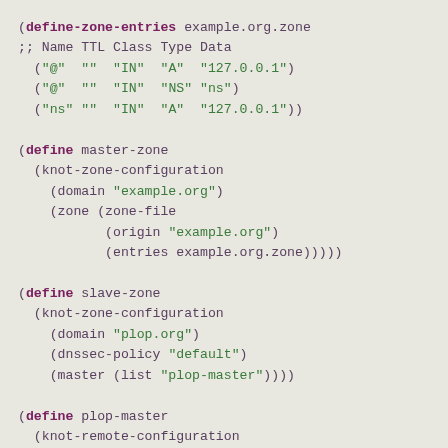(define-zone-entries example.org.zone
;; Name TTL Class Type Data
  ("@"  ""  "IN"  "A"  "127.0.0.1")
  ("@"  ""  "IN"  "NS" "ns")
  ("ns" ""  "IN"  "A"  "127.0.0.1"))

(define master-zone
  (knot-zone-configuration
    (domain "example.org")
    (zone (zone-file
           (origin "example.org")
           (entries example.org.zone)))))

(define slave-zone
  (knot-zone-configuration
    (domain "plop.org")
    (dnssec-policy "default")
    (master (list "plop-master"))))

(define plop-master
  (knot-remote-configuration
    (id "plop-master")
    (address "192.0.2.1")))